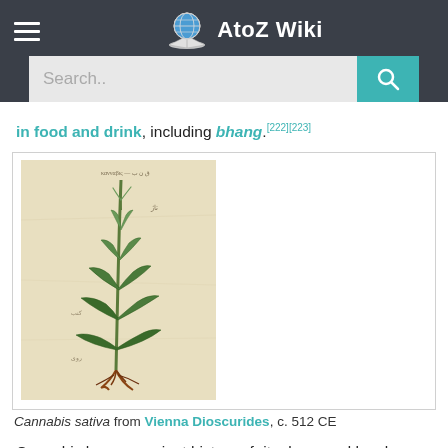AtoZ Wiki
in food and drink, including bhang.[222][223]
[Figure (illustration): Botanical illustration of Cannabis sativa plant from the Vienna Dioscurides manuscript, c. 512 CE, showing a tall green plant with characteristic serrated leaves and root system on a yellowed parchment background with Arabic script annotations.]
Cannabis sativa from Vienna Dioscurides, c. 512 CE
Cannabis has an ancient history of ritual use and has been used by religions around the world. The earliest evidence of